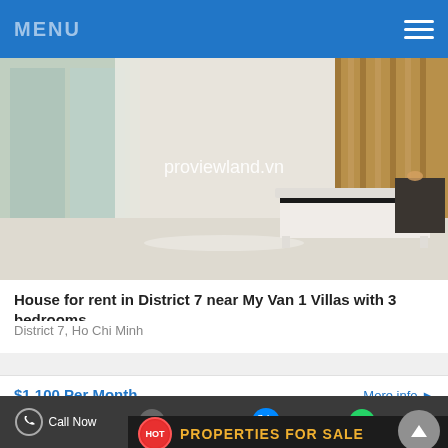MENU
[Figure (photo): Interior bedroom photo of a house for rent, showing a white bed frame, curtains, glass doors to a balcony, and wood panel wall accents. Watermark reads proviewland.vn]
House for rent in District 7 near My Van 1 Villas with 3 bedrooms...
District 7, Ho Chi Minh
$1,100 Per Month
More info ▶
HOT PROPERTIES FOR SALE
Call Now  SMS  Zalo  Whatapps